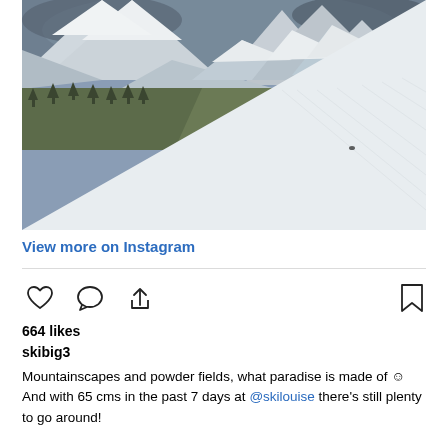[Figure (photo): Aerial view of snow-covered mountain range with steep rocky peaks dusted in white snow, a snow-covered slope in the foreground with ski tracks, and conifer trees in the middle ground. A single skier is visible on the slope. Cloudy sky above.]
View more on Instagram
664 likes
skibig3
Mountainscapes and powder fields, what paradise is made of ☺ And with 65 cms in the past 7 days at @skilouise there's still plenty to go around!